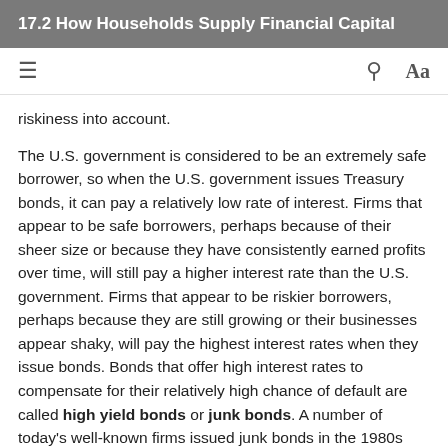17.2 How Households Supply Financial Capital
riskiness into account.
The U.S. government is considered to be an extremely safe borrower, so when the U.S. government issues Treasury bonds, it can pay a relatively low rate of interest. Firms that appear to be safe borrowers, perhaps because of their sheer size or because they have consistently earned profits over time, will still pay a higher interest rate than the U.S. government. Firms that appear to be riskier borrowers, perhaps because they are still growing or their businesses appear shaky, will pay the highest interest rates when they issue bonds. Bonds that offer high interest rates to compensate for their relatively high chance of default are called high yield bonds or junk bonds. A number of today's well-known firms issued junk bonds in the 1980s when they were starting to grow,